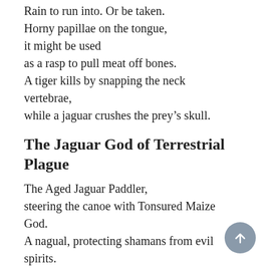Rain to run into. Or be taken.
Horny papillae on the tongue,
it might be used
as a rasp to pull meat off bones.
A tiger kills by snapping the neck vertebrae,
while a jaguar crushes the prey's skull.
The Jaguar God of Terrestrial Plague
The Aged Jaguar Paddler,
steering the canoe with Tonsured Maize God.
A nagual, protecting shamans from evil spirits.
Earth, you gave me pace and reproach.
I keep repeating the same mistake.
Habitat loss.
The Jaguar Demon of the Night, Mam of...